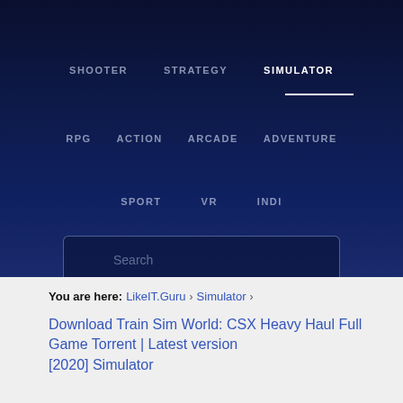[Figure (screenshot): Navigation menu with game genre categories on dark navy background: SHOOTER, STRATEGY, SIMULATOR (active/selected with underline), RPG, ACTION, ARCADE, ADVENTURE, SPORT, VR, INDI. Search box below the navigation.]
You are here: LikeIT.Guru > Simulator
Download Train Sim World: CSX Heavy Haul Full Game Torrent | Latest version [2020] Simulator